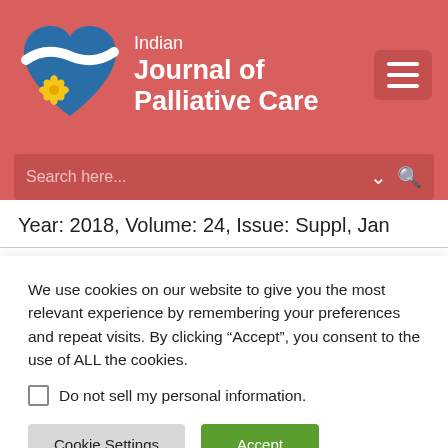[Figure (logo): Indian Journal of Palliative Care logo with a blue heart and yellow flower, with the journal title text]
Indian Journal of Palliative Care
Year: 2018, Volume: 24, Issue: Suppl, Jan
We use cookies on our website to give you the most relevant experience by remembering your preferences and repeat visits. By clicking “Accept”, you consent to the use of ALL the cookies.
Do not sell my personal information.
Cookie Settings  Accept